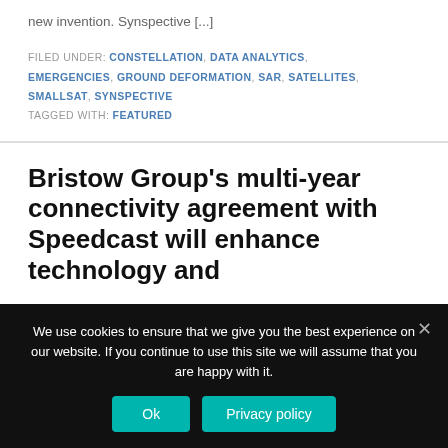new invention. Synspective [...]
FILED UNDER: CONSTELLATION, DATA ANALYTICS, EMERGENCIES, GROUND DEFORMATION, SAR, SATELLITES, SMALLSAT, SYNSPECTIVE
TAGGED WITH: FEATURED
Bristow Group's multi-year connectivity agreement with Speedcast will enhance technology and
We use cookies to ensure that we give you the best experience on our website. If you continue to use this site we will assume that you are happy with it.